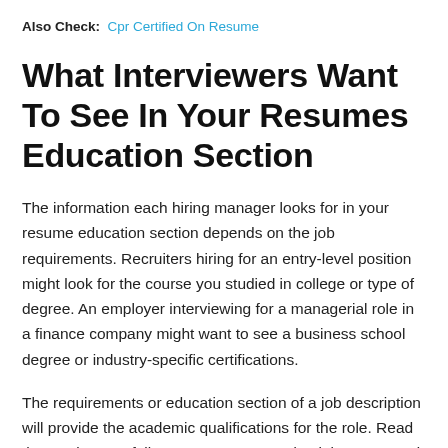Also Check: Cpr Certified On Resume
What Interviewers Want To See In Your Resumes Education Section
The information each hiring manager looks for in your resume education section depends on the job requirements. Recruiters hiring for an entry-level position might look for the course you studied in college or type of degree. An employer interviewing for a managerial role in a finance company might want to see a business school degree or industry-specific certifications.
The requirements or education section of a job description will provide the academic qualifications for the role. Read the section carefully to ensure your credentials are a good fit for the role.